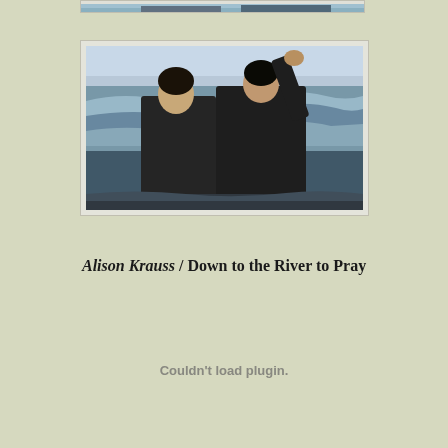[Figure (photo): Partial top of a photo showing ocean waves and possibly figures, cropped at the very top of the page]
[Figure (photo): Two people standing in ocean waves on a beach. One person appears to be holding or raising the other's hand. Both are wearing dark jackets. Ocean waves and sky visible in background. Photo has a white/light border frame around it.]
Alison Krauss / Down to the River to Pray
Couldn't load plugin.